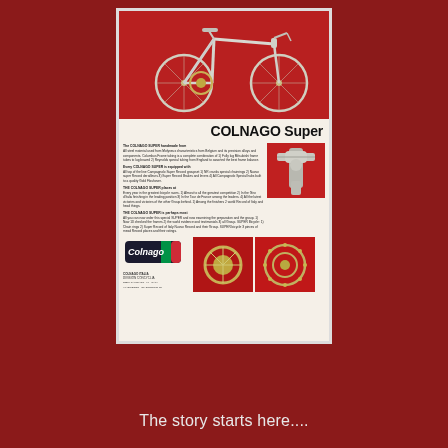[Figure (photo): Vintage Colnago Super road bicycle advertisement page. Top section shows a white racing bicycle against a red background. Middle section has the title 'COLNAGO Super' in bold, followed by descriptive text in small print and detail photos of the frame joints, rear hub, and crankset. Bottom section shows the Colnago Italy logo with Italian flag colors, and contact information.]
COLNAGO Super
The story starts here....